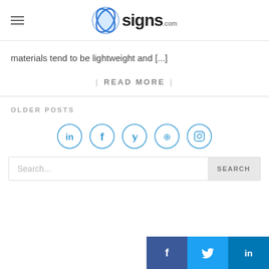signs.com
materials tend to be lightweight and [...]
| READ MORE |
OLDER POSTS
[Figure (infographic): Social media icons in circles: LinkedIn, Facebook, Twitter, Pinterest, Instagram]
[Figure (infographic): Search bar with placeholder 'Search...' and SEARCH button]
[Figure (infographic): Bottom social share bar with Facebook, Twitter, LinkedIn icons]